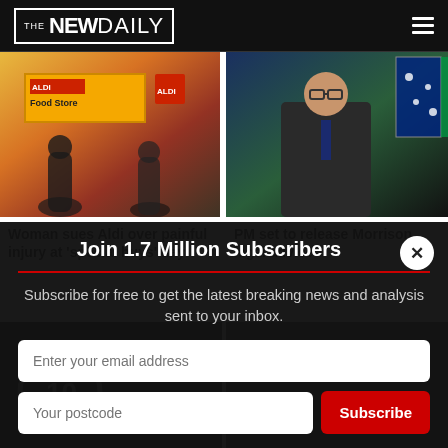THE NEW DAILY
[Figure (photo): Aldi Food Store exterior with shoppers]
Woman sues Aldi over painful injury at 'special buys' day
[Figure (photo): PM at press conference with Australian flag]
PM set to release Morrison legal advice
Join 1.7 Million Subscribers
Subscribe for free to get the latest breaking news and analysis sent to your inbox.
Enter your email address
Your postcode
Subscribe